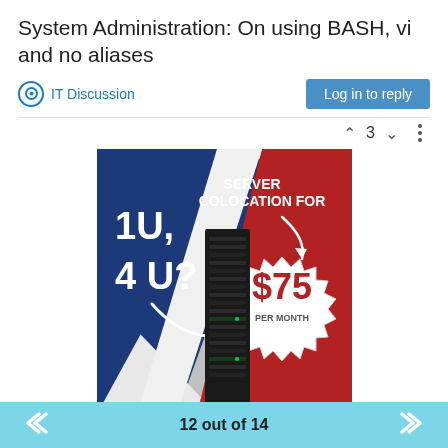System Administration: On using BASH, vi and no aliases
IT Discussion
Log in to reply
[Figure (infographic): Server colocation advertisement banner. Blue and red diagonal split background with a server rack in the center. Left side (blue): text '1U, 4 U?' in large white bold font with a smiley arrow curve. Right side (red): text 'SERVER COLOCATION FOR' in white bold with a starburst badge showing '$75 PER MONTH' in red on white.]
12 out of 14